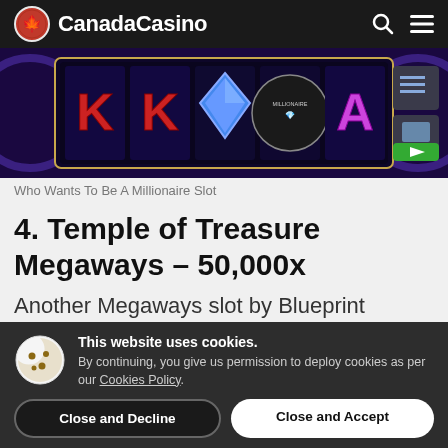CanadaCasino
[Figure (screenshot): Who Wants To Be A Millionaire slot game screenshot showing K, K, diamond, Millionaire logo, and A symbols on reels with dark purple background]
Who Wants To Be A Millionaire Slot
4. Temple of Treasure Megaways – 50,000x
Another Megaways slot by Blueprint
This website uses cookies. By continuing, you give us permission to deploy cookies as per our Cookies Policy.
Close and Decline
Close and Accept